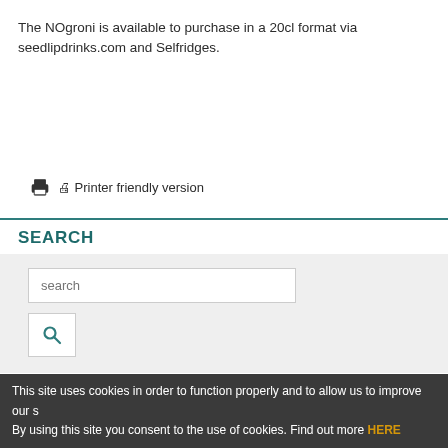The NOgroni is available to purchase in a 20cl format via seedlipdrinks.com and Selfridges.
Printer friendly version
SEARCH
search
HARPERS NEWSLETTERS
This site uses cookies in order to function properly and to allow us to improve our s By using this site you consent to the use of cookies. Find out more HERE